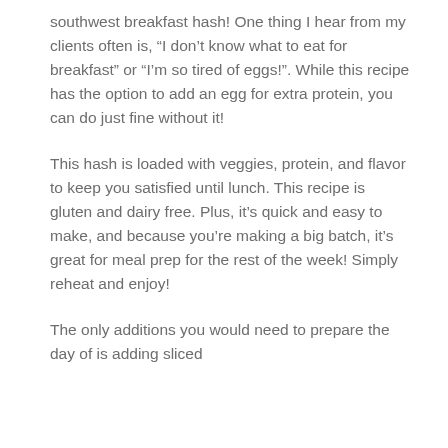southwest breakfast hash! One thing I hear from my clients often is, “I don’t know what to eat for breakfast” or “I’m so tired of eggs!”. While this recipe has the option to add an egg for extra protein, you can do just fine without it!
This hash is loaded with veggies, protein, and flavor to keep you satisfied until lunch. This recipe is gluten and dairy free. Plus, it’s quick and easy to make, and because you’re making a big batch, it’s great for meal prep for the rest of the week! Simply reheat and enjoy!
The only additions you would need to prepare the day of is adding sliced